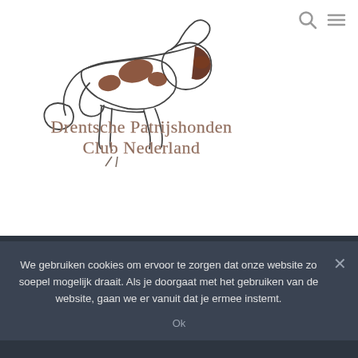[Figure (logo): Drentsche Patrijshonden Club Nederland logo with a line-drawn dog with brown spots above the club name text]
We gebruiken cookies om ervoor te zorgen dat onze website zo soepel mogelijk draait. Als je doorgaat met het gebruiken van de website, gaan we er vanuit dat je ermee instemt.
Ok